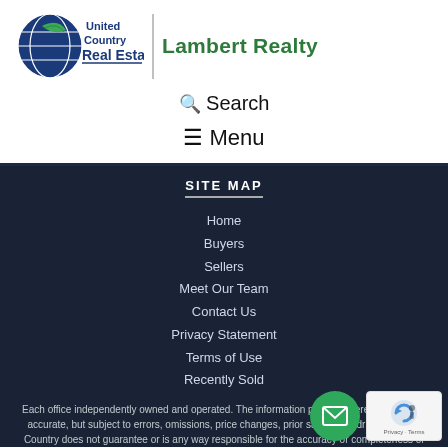[Figure (logo): United Country Real Estate | Lambert Realty logo — circular globe icon with leaf, company name in dark blue and green text]
🔍 Search
☰ Menu
SITE MAP
Home
Buyers
Sellers
Meet Our Team
Contact Us
Privacy Statement
Terms of Use
Recently Sold
Each office independently owned and operated. The information provided herein is deemed accurate, but subject to errors, omissions, price changes, prior sale or withdrawal. United Country does not guarantee or is any way responsible for the accuracy or completeness of